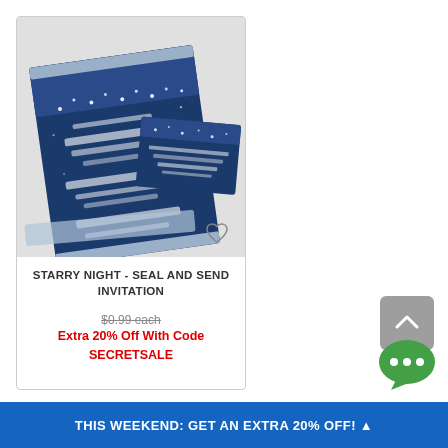[Figure (photo): Product photo of a navy blue starry night seal-and-send wedding invitation with white sparkle lights and silver foil details, shown with matching envelope insert]
STARRY NIGHT - SEAL AND SEND INVITATION
$0.99 each
Extra 20% Off With Code SECRETSALE
THIS WEEKEND: GET AN EXTRA 20% OFF!